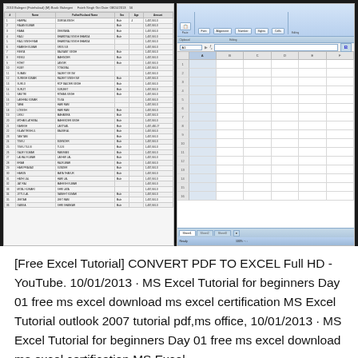[Figure (screenshot): A screenshot showing two windows side by side: on the left, a PDF viewer displaying a table with Indian names and data columns; on the right, a Microsoft Excel 2007/2010 spreadsheet with an empty grid showing columns A through F and rows 1 through 16, with Sheet1, Sheet2, Sheet3 tabs at the bottom.]
[Free Excel Tutorial] CONVERT PDF TO EXCEL Full HD - YouTube. 10/01/2013 · MS Excel Tutorial for beginners Day 01 free ms excel download ms excel certification MS Excel Tutorial outlook 2007 tutorial pdf,ms office, 10/01/2013 · MS Excel Tutorial for beginners Day 01 free ms excel download ms excel certification MS Excel